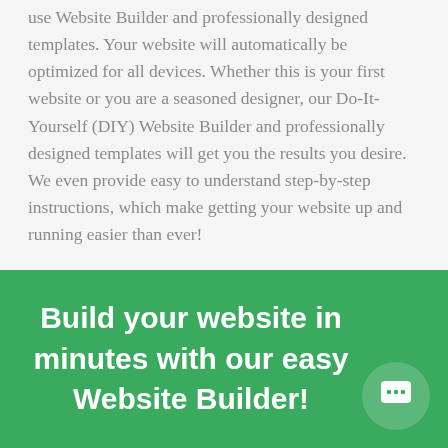use Website Builder and professionally designed templates. Your website will automatically be optimized for all devices. Whether this is your first website or you are a seasoned designer, our Do-It-Yourself (DIY) Website Builder and professionally designed templates will get you the results you desire. We even provide easy to understand step-by-step instructions, which make getting your website up and running easier than ever!
Build your website in minutes with our easy Website Builder!